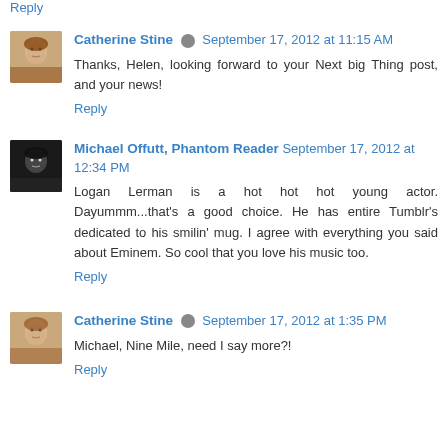Reply
Catherine Stine   September 17, 2012 at 11:15 AM
Thanks, Helen, looking forward to your Next big Thing post, and your news!
Reply
Michael Offutt, Phantom Reader   September 17, 2012 at 12:34 PM
Logan Lerman is a hot hot hot young actor. Dayummm...that's a good choice. He has entire Tumblr's dedicated to his smilin' mug. I agree with everything you said about Eminem. So cool that you love his music too.
Reply
Catherine Stine   September 17, 2012 at 1:35 PM
Michael, Nine Mile, need I say more?!
Reply